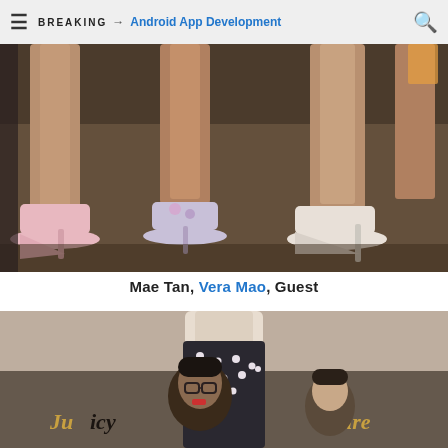≡  BREAKING → Android App Development  🔍
[Figure (photo): Close-up photo of legs and high heels of multiple women standing on a carpeted floor. Shoes include pink pointed-toe heels, floral/embellished heels, and white stilettos.]
Mae Tan, Vera Mao, Guest
[Figure (photo): Photo of a person with glasses standing in front of a Juicy Couture display/logo backdrop, partially obscured by a mannequin.]